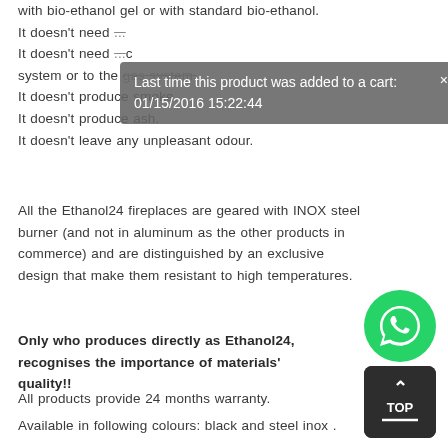with bio-ethanol gel or with standard bio-ethanol.
It doesn't need [tooltip overlay] It doesn't need [tooltip overlay] system or to the gas system.
It doesn't produce smoke.
It doesn't produce ash.
It doesn't leave any unpleasant odour.
Last time this product was added to a cart: 01/15/2016 15:22:44
All the Ethanol24 fireplaces are geared with INOX steel burner (and not in aluminum as the other products in commerce) and are distinguished by an exclusive design that make them resistant to high temperatures.
Only who produces directly as Ethanol24, recognises the importance of materials' quality!!
All products provide 24 months warranty.
Available in following colours: black and steel inox .
[Figure (logo): WhatsApp green circular chat button icon]
[Figure (other): Dark rounded square 'TOP' button with upward arrow and underline]